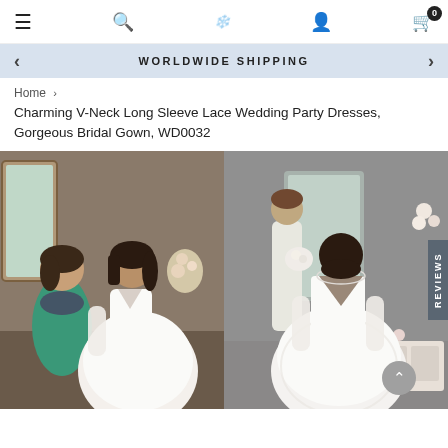Navigation bar with hamburger menu, search icon, logo, user icon, cart (0)
WORLDWIDE SHIPPING
Home > Charming V-Neck Long Sleeve Lace Wedding Party Dresses, Gorgeous Bridal Gown, WD0032
[Figure (photo): Two photos of a bride wearing a white V-neck long-sleeve lace wedding ball gown. Left photo shows front view with a woman in teal shirt standing next to the bride. Right photo shows back view of the bride showing lace long sleeves and open back design.]